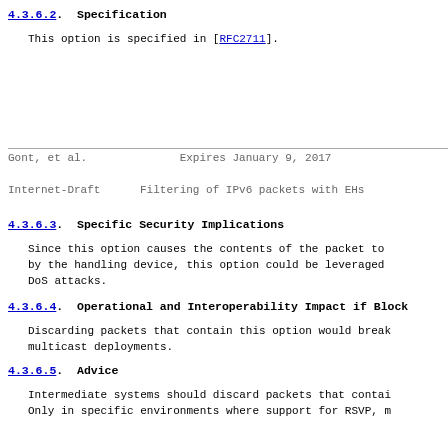4.3.6.2.  Specification
This option is specified in [RFC2711].
Gont, et al.                 Expires January 9, 2017
Internet-Draft       Filtering of IPv6 packets with EHs
4.3.6.3.  Specific Security Implications
Since this option causes the contents of the packet to be inspected by the handling device, this option could be leveraged to perform DoS attacks.
4.3.6.4.  Operational and Interoperability Impact if Block
Discarding packets that contain this option would break multicast deployments.
4.3.6.5.  Advice
Intermediate systems should discard packets that contain this option. Only in specific environments where support for RSVP, m